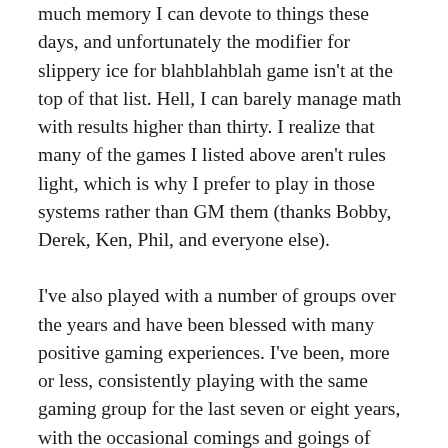much memory I can devote to things these days, and unfortunately the modifier for slippery ice for blahblahblah game isn't at the top of that list. Hell, I can barely manage math with results higher than thirty. I realize that many of the games I listed above aren't rules light, which is why I prefer to play in those systems rather than GM them (thanks Bobby, Derek, Ken, Phil, and everyone else).
I've also played with a number of groups over the years and have been blessed with many positive gaming experiences. I've been, more or less, consistently playing with the same gaming group for the last seven or eight years, with the occasional comings and goings of players due to a myriad of reasons. I've met a ton of interesting people over the years, and, thankfully, still remain friends with most of the people I've gamed with for a substantial amount of time. The relationships I've developed